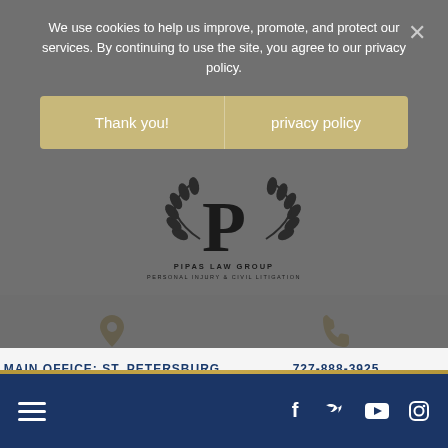We use cookies to help us improve, promote, and protect our services. By continuing to use the site, you agree to our privacy policy.
Thank you!
privacy policy
[Figure (logo): Pipas Law Group logo with letter P and laurel wreath, text: PIPAS LAW GROUP - PERSONAL INJURY & CIVIL LITIGATION]
MAIN OFFICE: ST. PETERSBURG
360 Central Avenue
Suite 1570
St. Petersburg, Florida,
33701
727-888-3925
Monday to Friday:
9.00 AM – 5.30 PM
[Figure (screenshot): Footer navigation bar with hamburger menu icon on left and social media icons (Facebook, Twitter, YouTube, Instagram) on right, dark navy background. Below is a dark image area.]